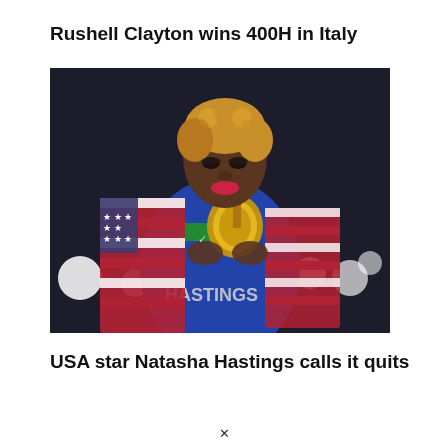Rushell Clayton wins 400H in Italy
[Figure (photo): Natasha Hastings wearing US flag draped over shoulders, holding gold medal, wearing Rio Olympics athletic uniform with 'HASTINGS' visible, looking downward, with bokeh lights in background]
USA star Natasha Hastings calls it quits
×